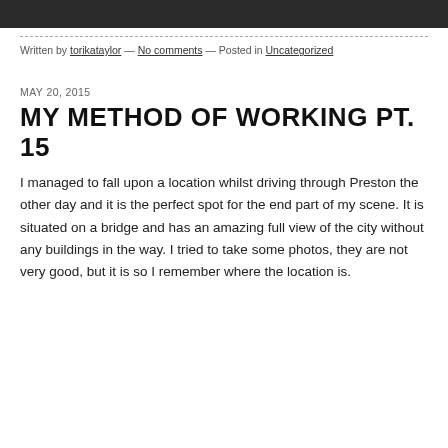[Figure (other): Dark gray/black top bar strip]
Written by torikataylor — No comments — Posted in Uncategorized
MAY 20, 2015
MY METHOD OF WORKING PT. 15
I managed to fall upon a location whilst driving through Preston the other day and it is the perfect spot for the end part of my scene. It is situated on a bridge and has an amazing full view of the city without any buildings in the way. I tried to take some photos, they are not very good, but it is so I remember where the location is.